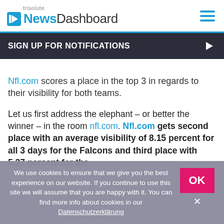trisolute NewsDashboard
SIGN UP FOR NOTIFICATIONS
Nfl.com scores a place in the top 3 in regards to their visibility for both teams.
Let us first address the elephant – or better the winner – in the room nfl.com. Nfl.com gets second place with an average visibility of 8.15 percent for all 3 days for the Falcons and third place with 5.37 percent for the
We use cookies to ensure that we give you the best experience on our website. If you continue to use this site we will assume that you are happy with it. You can find more info about cookies in our Datenschutzerklärung